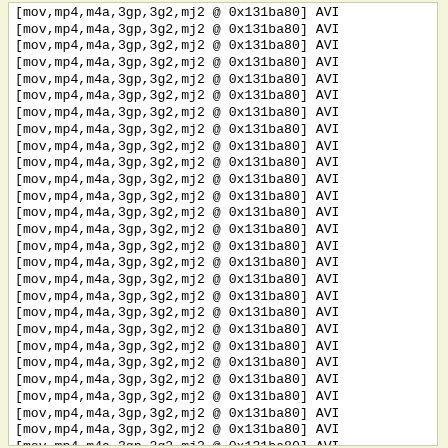[mov,mp4,m4a,3gp,3g2,mj2 @ 0x131ba80] AVI
[mov,mp4,m4a,3gp,3g2,mj2 @ 0x131ba80] AVI
[mov,mp4,m4a,3gp,3g2,mj2 @ 0x131ba80] AVI
[mov,mp4,m4a,3gp,3g2,mj2 @ 0x131ba80] AVI
[mov,mp4,m4a,3gp,3g2,mj2 @ 0x131ba80] AVI
[mov,mp4,m4a,3gp,3g2,mj2 @ 0x131ba80] AVI
[mov,mp4,m4a,3gp,3g2,mj2 @ 0x131ba80] AVI
[mov,mp4,m4a,3gp,3g2,mj2 @ 0x131ba80] AVI
[mov,mp4,m4a,3gp,3g2,mj2 @ 0x131ba80] AVI
[mov,mp4,m4a,3gp,3g2,mj2 @ 0x131ba80] AVI
[mov,mp4,m4a,3gp,3g2,mj2 @ 0x131ba80] AVI
[mov,mp4,m4a,3gp,3g2,mj2 @ 0x131ba80] AVI
[mov,mp4,m4a,3gp,3g2,mj2 @ 0x131ba80] AVI
[mov,mp4,m4a,3gp,3g2,mj2 @ 0x131ba80] AVI
[mov,mp4,m4a,3gp,3g2,mj2 @ 0x131ba80] AVI
[mov,mp4,m4a,3gp,3g2,mj2 @ 0x131ba80] AVI
[mov,mp4,m4a,3gp,3g2,mj2 @ 0x131ba80] AVI
[mov,mp4,m4a,3gp,3g2,mj2 @ 0x131ba80] AVI
[mov,mp4,m4a,3gp,3g2,mj2 @ 0x131ba80] AVI
[mov,mp4,m4a,3gp,3g2,mj2 @ 0x131ba80] AVI
[mov,mp4,m4a,3gp,3g2,mj2 @ 0x131ba80] AVI
[mov,mp4,m4a,3gp,3g2,mj2 @ 0x131ba80] AVI
[mov,mp4,m4a,3gp,3g2,mj2 @ 0x131ba80] AVI
[mov,mp4,m4a,3gp,3g2,mj2 @ 0x131ba80] AVI
[mov,mp4,m4a,3gp,3g2,mj2 @ 0x131ba80] AVI
[mov,mp4,m4a,3gp,3g2,mj2 @ 0x131ba80] AVI
[mov,mp4,m4a,3gp,3g2,mj2 @ 0x131ba80] AVI
[mov,mp4,m4a,3gp,3g2,mj2 @ 0x131ba80] AVI
[mov,mp4,m4a,3gp,3g2,mj2 @ 0x131ba80] AVI
[mov,mp4,m4a,3gp,3g2,mj2 @ 0x131ba80] AVI